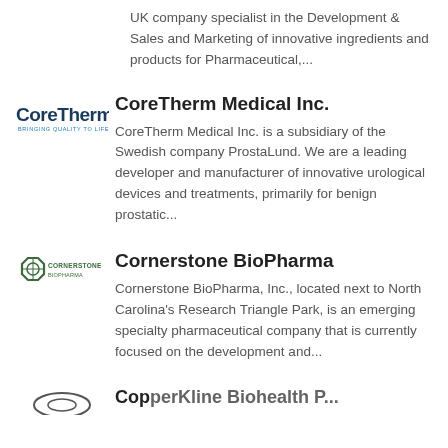UK company specialist in the Development & Sales and Marketing of innovative ingredients and products for Pharmaceutical,...
[Figure (logo): CoreTherm logo with text 'CoreTherm' in bold dark blue and 'BRINGING QUALITY TO LIFE' tagline below]
CoreTherm Medical Inc.
CoreTherm Medical Inc. is a subsidiary of the Swedish company ProstaLund. We are a leading developer and manufacturer of innovative urological devices and treatments, primarily for benign prostatic...
[Figure (logo): Cornerstone logo with diamond/octagon shape and 'CORNERSTONE' text]
Cornerstone BioPharma
Cornerstone BioPharma, Inc., located next to North Carolina's Research Triangle Park, is an emerging specialty pharmaceutical company that is currently focused on the development and...
[Figure (logo): Partial logo visible at bottom of page]
CopperKline Biohealth P...